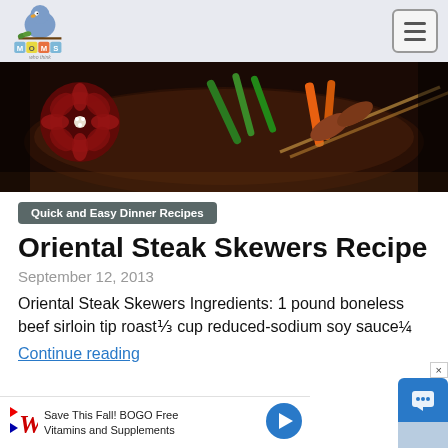Moms Who Think
[Figure (photo): Food photo showing skewers with vegetables on a dark platter]
Quick and Easy Dinner Recipes
Oriental Steak Skewers Recipe
September 12, 2013
Oriental Steak Skewers Ingredients: 1 pound boneless beef sirloin tip roast⅓ cup reduced-sodium soy sauce¼
Continue reading
Save This Fall! BOGO Free Vitamins and Supplements